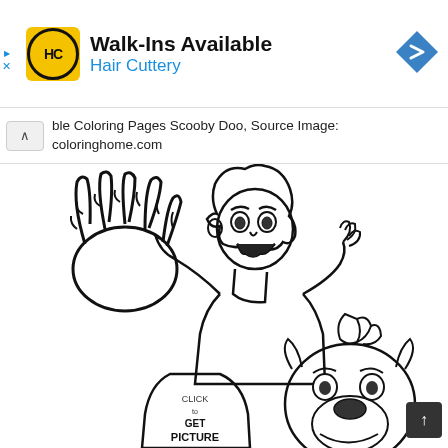[Figure (illustration): Hair Cuttery advertisement banner with yellow HC logo, text 'Walk-Ins Available' and 'Hair Cuttery' in blue, and a blue diamond navigation arrow icon on the right]
ble Coloring Pages Scooby Doo, Source Image: coloringhome.com
[Figure (illustration): Black and white Scooby-Doo coloring page showing a scared character (Shaggy) reacting to monster claws, with Scooby-Doo visible below and 'CLICK to GET PICTURE' text overlay]